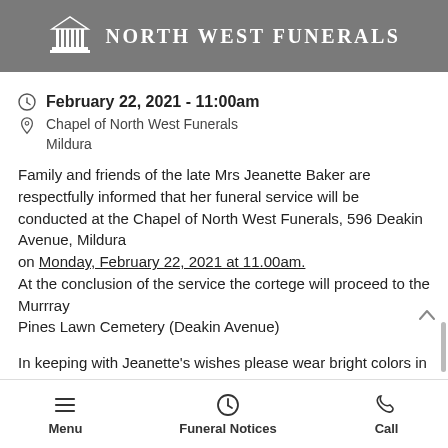North West Funerals
February 22, 2021 - 11:00am
Chapel of North West Funerals
Mildura
Family and friends of the late Mrs Jeanette Baker are respectfully informed that her funeral service will be conducted at the Chapel of North West Funerals, 596 Deakin Avenue, Mildura
on  Monday, February 22, 2021 at 11.00am.
At the conclusion of the service the cortege will proceed to the Murrray
Pines Lawn Cemetery (Deakin Avenue)

In keeping with Jeanette's wishes please wear bright colors in her honour
Menu   Funeral Notices   Call